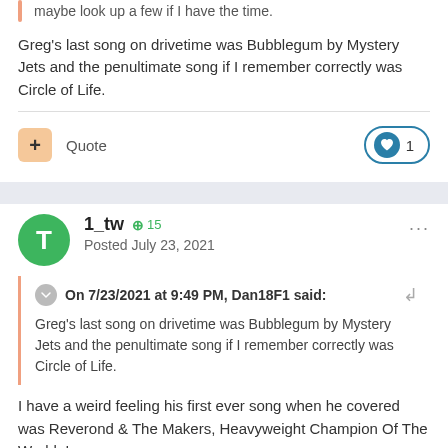maybe look up a few if I have the time.
Greg's last song on drivetime was Bubblegum by Mystery Jets and the penultimate song if I remember correctly was Circle of Life.
1_tw  +15
Posted July 23, 2021
On 7/23/2021 at 9:49 PM, Dan18F1 said:
Greg's last song on drivetime was Bubblegum by Mystery Jets and the penultimate song if I remember correctly was Circle of Life.
I have a weird feeling his first ever song when he covered was Reverond & The Makers, Heavyweight Champion Of The World. I